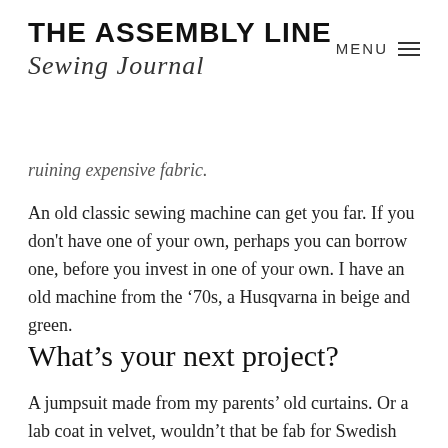THE ASSEMBLY LINE Sewing Journal
ruining expensive fabric.
An old classic sewing machine can get you far. If you don't have one of your own, perhaps you can borrow one, before you invest in one of your own. I have an old machine from the '70s, a Husqvarna in beige and green.
What’s your next project?
A jumpsuit made from my parents’ old curtains. Or a lab coat in velvet, wouldn’t that be fab for Swedish spring?I